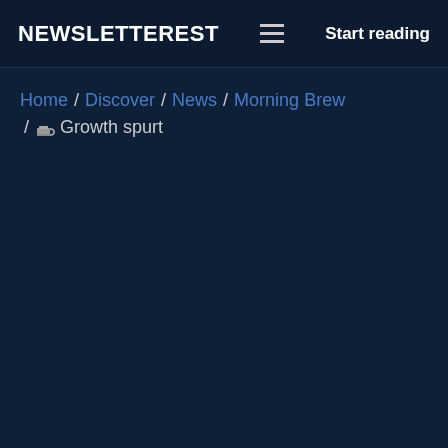NEWSLETTEREST  ☰  Start reading
Home / Discover / News / Morning Brew / 🍵 Growth spurt